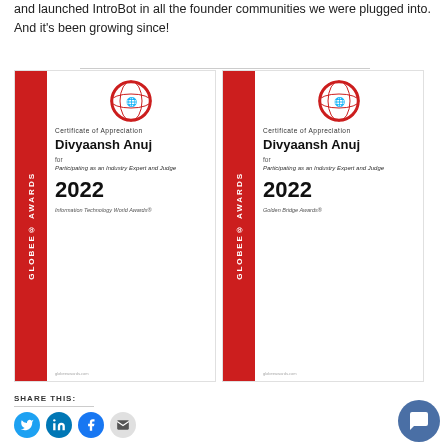and launched IntroBot in all the founder communities we were plugged into. And it's been growing since!
[Figure (illustration): Two Globee Awards Certificates of Appreciation for Divyaansh Anuj for Participating as an Industry Expert and Judge 2022 - one for Information Technology World Awards® and one for Golden Bridge Awards®]
SHARE THIS:
[Figure (illustration): Social share icons: Twitter, LinkedIn, Facebook, Email]